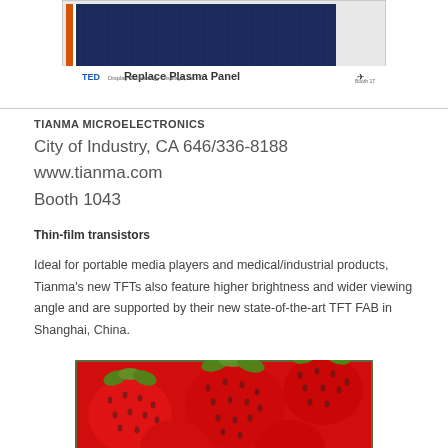[Figure (photo): TED Replace Plasma Panel product image with dark blue panel and orange detail, with TED logo and text at bottom]
TIANMA MICROELECTRONICS
City of Industry, CA 646/336-8188
www.tianma.com
Booth 1043
Thin-film transistors
Ideal for portable media players and medical/industrial products, Tianma's new TFTs also feature higher brightness and wider viewing angle and are supported by their new state-of-the-art TFT FAB in Shanghai, China.
[Figure (photo): Close-up photograph of red strawberries displayed on a framed screen, demonstrating TFT display color quality]